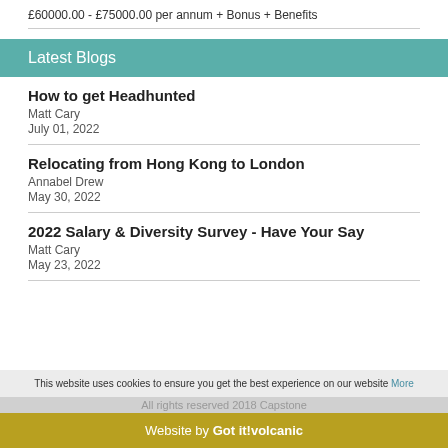£60000.00 - £75000.00 per annum + Bonus + Benefits
Latest Blogs
How to get Headhunted
Matt Cary
July 01, 2022
Relocating from Hong Kong to London
Annabel Drew
May 30, 2022
2022 Salary & Diversity Survey - Have Your Say
Matt Cary
May 23, 2022
This website uses cookies to ensure you get the best experience on our website More
All rights reserved 2018 Capstone
Website by Volcanic